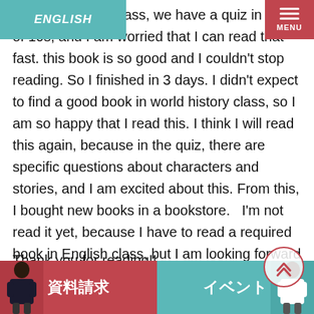ENGLISH
romance. In the class, we have a quiz in each of 10s, and I am worried that I can read that fast. this book is so good and I couldn't stop reading. So I finished in 3 days. I didn't expect to find a good book in world history class, so I am so happy that I read this. I think I will read this again, because in the quiz, there are specific questions about characters and stories, and I am excited about this. From this, I bought new books in a bookstore.  I'm not read it yet, because I have to read a required book in English class, but I am looking forward to reading it. Incidentally, there are many Manga in the bookstore. I found my favorite manga in the store, so I bought it.
Thank you for reading!!
資料請求　　イベント